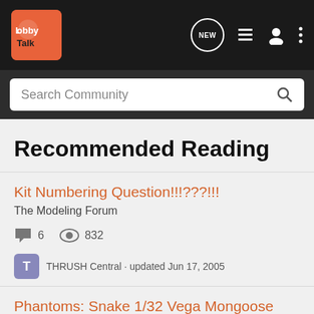LobbyTalk - navigation bar with logo, NEW button, list icon, user icon, menu icon
Search Community
Recommended Reading
Kit Numbering Question!!!???!!! · The Modeling Forum · 6 comments · 832 views · THRUSH Central · updated Jun 17, 2005
Phantoms: Snake 1/32 Vega Mongoose 1/32 Rail · Model Cars · 7 comments · 2K views